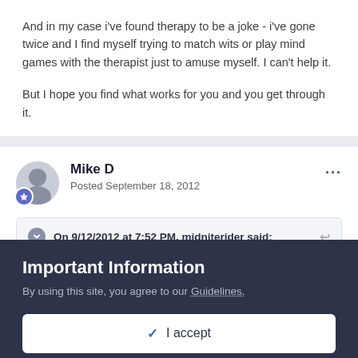And in my case i've found therapy to be a joke - i've gone twice and I find myself trying to match wits or play mind games with the therapist just to amuse myself. I can't help it.
But I hope you find what works for you and you get through it.
Mike D
Posted September 18, 2012
On 9/12/2012 at 7:52 PM, midniterider said:
Important Information
By using this site, you agree to our Guidelines.
✓  I accept